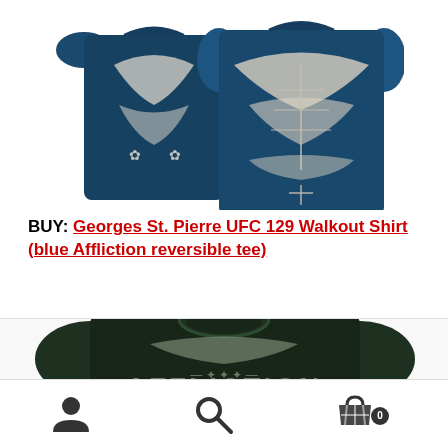[Figure (photo): Blue Affliction reversible t-shirt displayed showing front and back, with white eagle/wing graphic design and maple leaf motifs on dark blue background]
BUY: Georges St. Pierre UFC 129 Walkout Shirt (blue Affliction reversible tee)
[Figure (photo): Dark green Affliction t-shirt showing front with 'AFFLICTION' text and ornate graphic design]
User icon | Search icon | Cart icon with badge 0